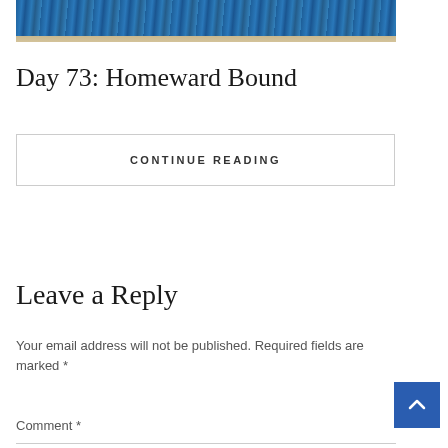[Figure (photo): Partial photo showing blue ocean water and sandy beach at the bottom edge]
Day 73: Homeward Bound
CONTINUE READING
Leave a Reply
Your email address will not be published. Required fields are marked *
Comment *